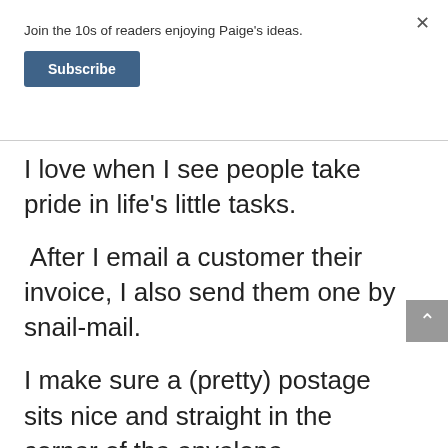Join the 10s of readers enjoying Paige's ideas.
Subscribe
I love when I see people take pride in life's little tasks.
After I email a customer their invoice, I also send them one by snail-mail.
I make sure a (pretty) postage sits nice and straight in the corner of the envelope.